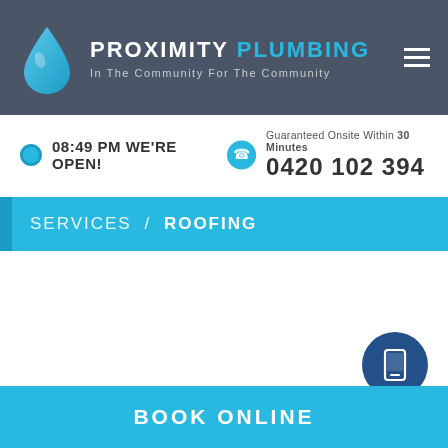PROXIMITY PLUMBING — In The Community For The Community
08:49 PM WE'RE OPEN!
Guaranteed Onsite Within 30 Minutes
0420 102 394
SERVICES / ROOFING
BOOK ONLINE